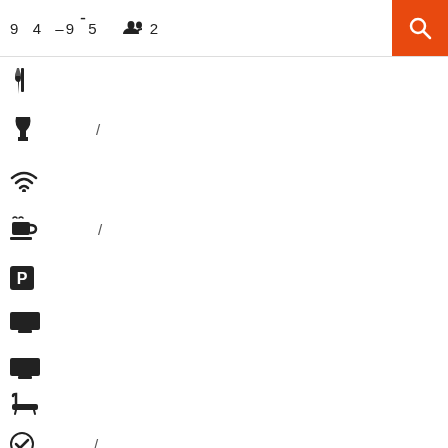9  4  –9  5    2
Restaurant icon
Wine glass icon  /
WiFi icon
Coffee cup icon  /
Parking icon
TV icon
TV icon
Bathtub icon
Check icon  /